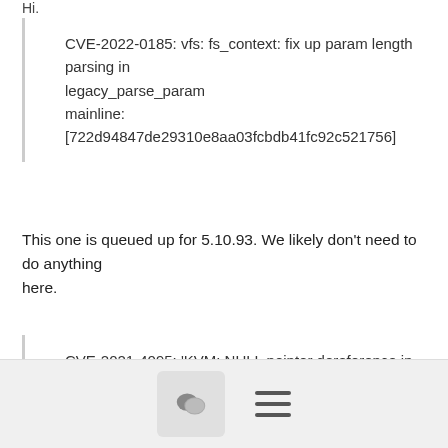Hi.
CVE-2022-0185: vfs: fs_context: fix up param length parsing in legacy_parse_param mainline: [722d94847de29310e8aa03fcbdb41fc92c521756]
This one is queued up for 5.10.93. We likely don't need to do anything here.
CVE-2021-4095: 'KVM: NULL pointer dereference in kvm_dirty_ring_get() in virt/kvm/dirty_ring.c'
This issue was fixed in the mainline this week. It introduced at